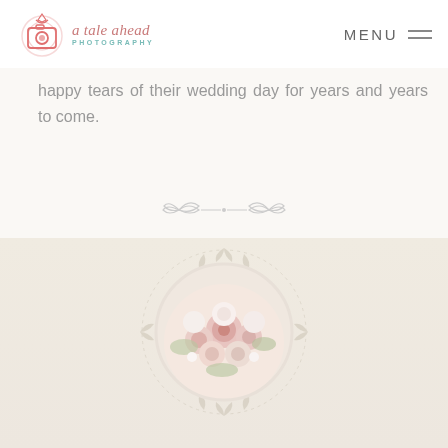[Figure (logo): A Tale Ahead Photography logo with camera icon in coral/pink and teal colors]
MENU
happy tears of their wedding day for years and years to come.
[Figure (illustration): Decorative floral/leaf ornamental divider in light gray]
[Figure (photo): Circular photo of a bridal flower bouquet with pink and white roses, framed by a decorative wreath illustration on a warm beige background]